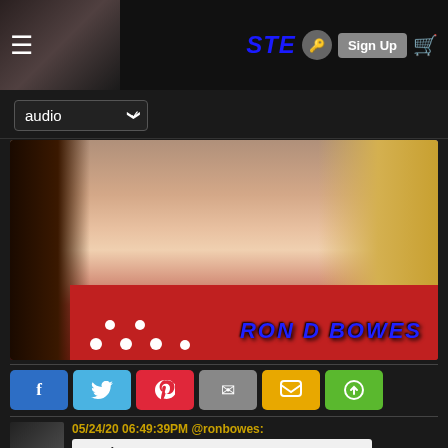STE... Sign Up [cart icon]
audio (dropdown)
[Figure (photo): A smiling woman with red lipstick, red polka-dot bandana, and blonde hair. Watermark text reads RON D BOWES.]
[Figure (infographic): Social share buttons row: Facebook (f), Twitter, Pinterest, Email, SMS/message, Share]
05/24/20 06:49:39PM @ronbowes:
carol sue:
hehe.. ♥